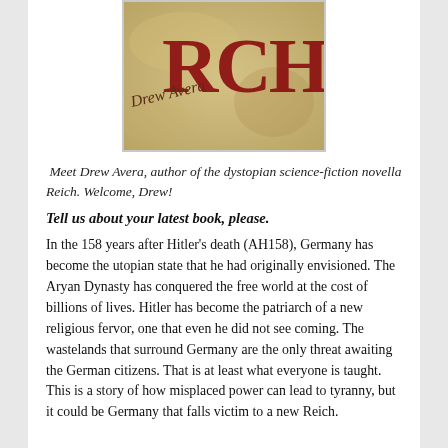[Figure (photo): Book cover of 'Reich' by Drew Avera, showing an aged parchment background with large red letters 'RCH' and author name 'Drew Avera' in italic script, partially cropped at top.]
Meet Drew Avera, author of the dystopian science-fiction novella Reich. Welcome, Drew!
Tell us about your latest book, please.
In the 158 years after Hitler's death (AH158), Germany has become the utopian state that he had originally envisioned. The Aryan Dynasty has conquered the free world at the cost of billions of lives. Hitler has become the patriarch of a new religious fervor, one that even he did not see coming. The wastelands that surround Germany are the only threat awaiting the German citizens. That is at least what everyone is taught. This is a story of how misplaced power can lead to tyranny, but it could be Germany that falls victim to a new Reich.